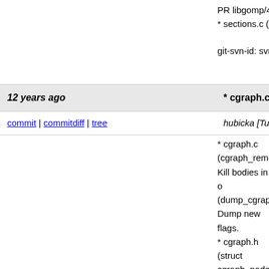PR libgomp/43569
* sections.c (gomp_sections_init): Initialize ws->me

git-svn-id: svn+ssh://gcc.gnu.org/svn/gcc/trunk@1
* cgraph.c (cgraph_remove_node): Kill bodies
12 years ago
commit | commitdiff | tree    hubicka [Tue, 20 Apr 2010 14:49:18 +0000
* cgraph.c (cgraph_remove_node): Kill bodies in o
(dump_cgraph_node): Dump new flags.
* cgraph.h (struct cgraph_node): Add flags reachable
and in_other_partition.
(cgraph_can_remove_if_no_direct_calls_p): Funct
can not be removed.
* cgraphunit.c (cgraph_mark_functions_to_output)
partition must be output; silence sanity checking o
bodies from other paritition.
* lto-cgraph.c (reachable_from_other_partition_p):
(lto_output_node): Output new flags; do not sanity
clones are output; drop lto_forced_extern_inline_p
visibility flags at partition boundaries.
(add_node_to): New function.
(output_cgraph): Use it to sort functions so master
clones.
(input_overwrite_node): Input new flags.
* passes.c (ipa_write_summaries): Do not call
lto_new_extern_inline_states.
* lto-section-out.c (forced_extern_inline, lto_new_s